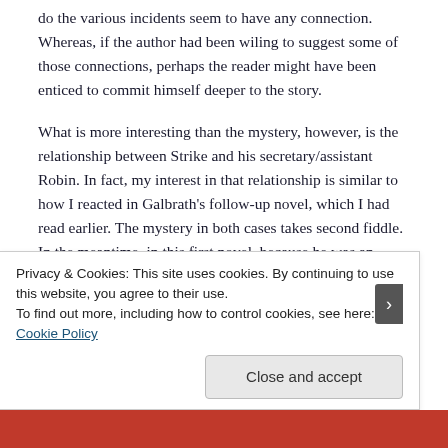do the various incidents seem to have any connection. Whereas, if the author had been wiling to suggest some of those connections, perhaps the reader might have been enticed to commit himself deeper to the story.
What is more interesting than the mystery, however, is the relationship between Strike and his secretary/assistant Robin. In fact, my interest in that relationship is similar to how I reacted in Galbrath's follow-up novel, which I had read earlier. The mystery in both cases takes second fiddle. In the meantime, in this first novel, because he was an illegitimate baby himself, Strike relates to Lulu; and because he also has known the Barstow family before, he commits
Privacy & Cookies: This site uses cookies. By continuing to use this website, you agree to their use.
To find out more, including how to control cookies, see here: Cookie Policy